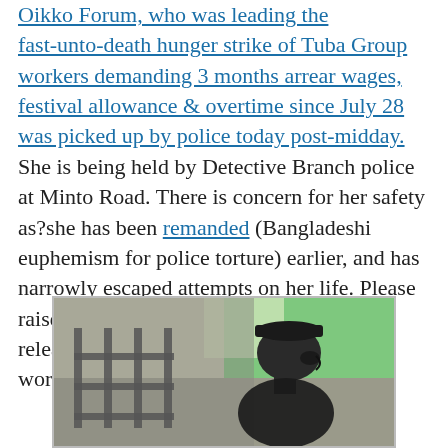[truncated top] Oikko Forum, who was leading the fast-unto-death hunger strike of Tuba Group workers demanding 3 months arrear wages, festival allowance & overtime since July 28 was picked up by police today post-midday. She is being held by Detective Branch police at Minto Road. There is concern for her safety as?she has been remanded (Bangladeshi euphemism for police torture) earlier, and has narrowly escaped attempts on her life. Please raise your voice to demand her immediate release, and immediate payment of all workers' dues.
[Figure (photo): A person shown in silhouette/profile against a light green and grey background, appearing to be photographed through or near a barred structure.]